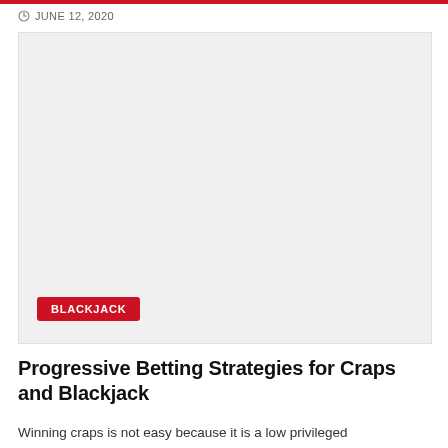JUNE 12, 2020
[Figure (photo): Large placeholder image area with light gray background, containing a red BLACKJACK badge in the lower-left corner]
Progressive Betting Strategies for Craps and Blackjack
Winning craps is not easy because it is a low privileged